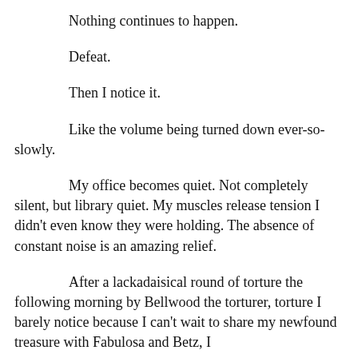Nothing continues to happen.
Defeat.
Then I notice it.
Like the volume being turned down ever-so-slowly.
My office becomes quiet. Not completely silent, but library quiet. My muscles release tension I didn't even know they were holding. The absence of constant noise is an amazing relief.
After a lackadaisical round of torture the following morning by Bellwood the torturer, torture I barely notice because I can't wait to share my newfound treasure with Fabulosa and Betz, I